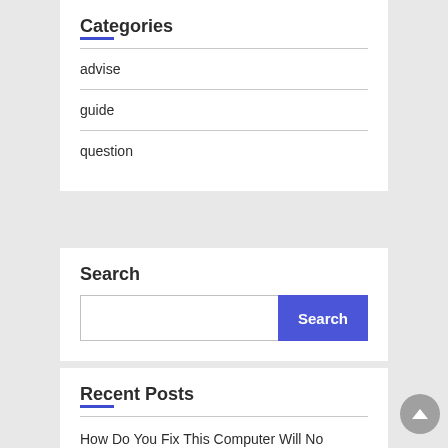Categories
advise
guide
question
Search
Recent Posts
How Do You Fix This Computer Will No